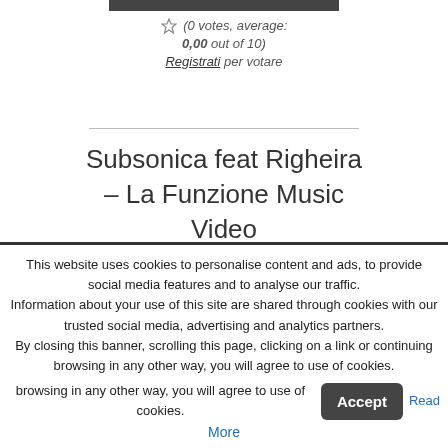[Figure (other): Star rating bar at top, partially visible]
(0 votes, average: 0,00 out of 10) Registrati per votare
Subsonica feat Righeira – La Funzione Music Video
Autunno 2009
Novembre
This website uses cookies to personalise content and ads, to provide social media features and to analyse our traffic. Information about your use of this site are shared through cookies with our trusted social media, advertising and analytics partners. By closing this banner, scrolling this page, clicking on a link or continuing browsing in any other way, you will agree to use of cookies. Accept Read More